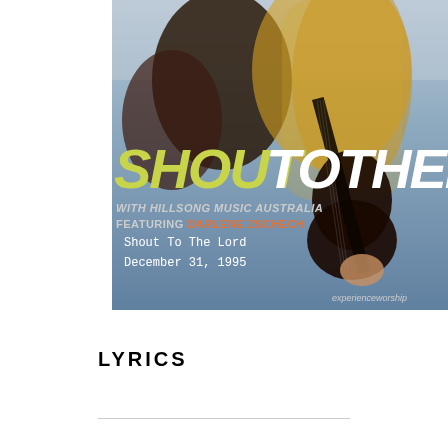[Figure (photo): Album cover for 'Shout To The Lord' with Hillsong Music Australia featuring Darlene Zschech. Shows a person with long blonde hair playing guitar against a blue background. Large text reads 'SHOUT TO THE LORD' in yellow-green and white italic letters. Subtitles include 'WITH HILLSONG MUSIC AUSTRALIA', 'FEATURING DARLENE ZSCHECH', 'Shout To The Lord', 'December 31, 1995', and 'experienceworship' logo in bottom right.]
LYRICS